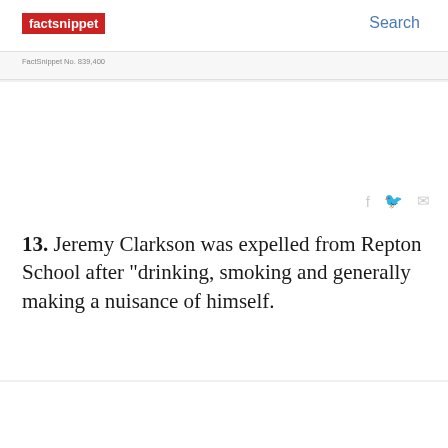factsnippet  Search
FactSnippet No. 839,400
13. Jeremy Clarkson was expelled from Repton School after "drinking, smoking and generally making a nuisance of himself.
FactSnippet No. 839,399